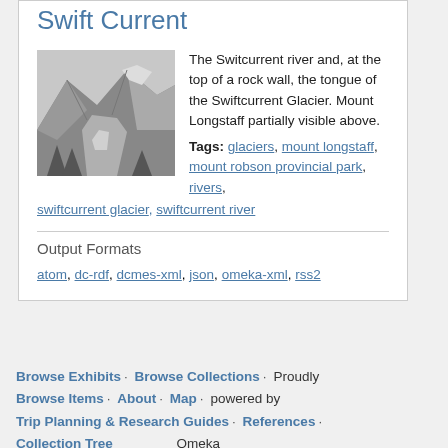Swift Current
[Figure (photo): Black and white photograph of the Swiftcurrent river with rocky mountain walls and the tongue of a glacier visible at the top, trees in the foreground.]
The Switcurrent river and, at the top of a rock wall, the tongue of the Swiftcurrent Glacier. Mount Longstaff partially visible above.
Tags: glaciers, mount longstaff, mount robson provincial park, rivers, swiftcurrent glacier, swiftcurrent river
Output Formats
atom, dc-rdf, dcmes-xml, json, omeka-xml, rss2
Browse Exhibits · Browse Collections · Proudly Browse Items · About · Map · powered by Trip Planning & Research Guides · References · Collection Tree Omeka